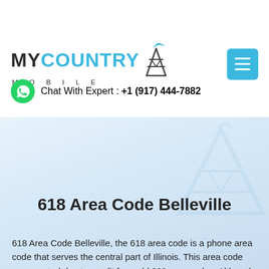[Figure (logo): My Country Mobile logo with tower icon]
Chat With Expert : +1 (917) 444-7882
618 Area Code Belleville
618 Area Code Belleville, the 618 area code is a phone area code that serves the central part of Illinois. This area code was created due to a split from old 309 area codes. Although